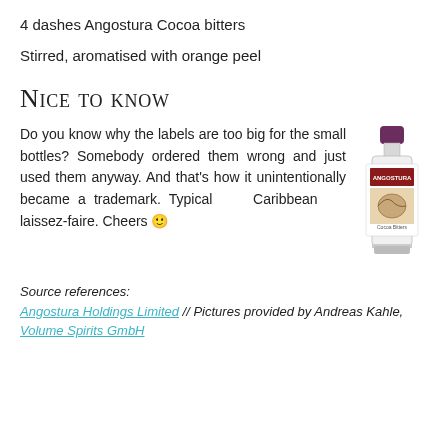4 dashes Angostura Cocoa bitters
Stirred, aromatised with orange peel
Nice to know
Do you know why the labels are too big for the small bottles? Somebody ordered them wrong and just used them anyway. And that’s how it unintentionally became a trademark. Typical Caribbean laissez-faire. Cheers 🙂
[Figure (photo): Small bottle of Angostura Cocoa Bitters with a purple cap and oversized label]
Source references: Angostura Holdings Limited // Pictures provided by Andreas Kahle, Volume Spirits GmbH